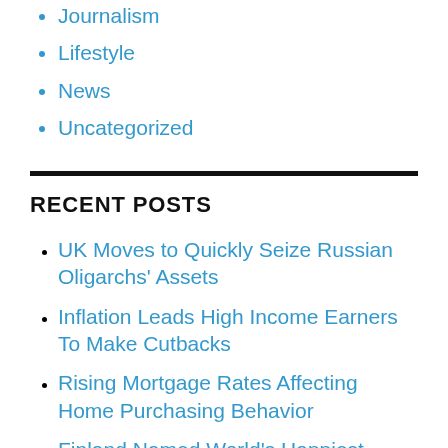Journalism
Lifestyle
News
Uncategorized
RECENT POSTS
UK Moves to Quickly Seize Russian Oligarchs' Assets
Inflation Leads High Income Earners To Make Cutbacks
Rising Mortgage Rates Affecting Home Purchasing Behavior
Finland Named World's Happiest Country for 5th Year